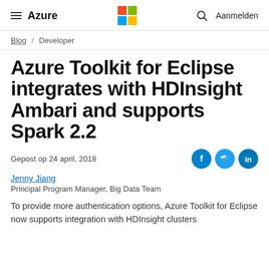Azure | Microsoft logo | Search | Aanmelden
Blog / Developer
Azure Toolkit for Eclipse integrates with HDInsight Ambari and supports Spark 2.2
Gepost op 24 april, 2018
Jenny Jiang
Principal Program Manager, Big Data Team
To provide more authentication options, Azure Toolkit for Eclipse now supports integration with HDInsight clusters